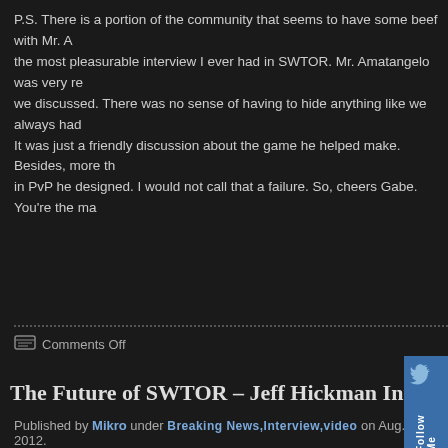P.S. There is a portion of the community that seems to have some beef with Mr. A... the most pleasurable interview I ever had in SWTOR. Mr. Amatangelo was very re... we discussed. There was no sense of having to hide anything like we always had ... It was just a friendly discussion about the game he helped make. Besides, more th... in PvP he designed. I would not call that a failure. So, cheers Gabe. You're the ma...
Comments Off
The Future of SWTOR – Jeff Hickman Interview
Published by Mikro under Breaking News,Interview,video on Aug. 18, 2012.
During the biggest gaming event in Europe, GamesCom gaming convention in C... opportunity to talk to the man whose decisions will have a great impact on t...utu... Mr. Jeff Hickman, the new Executive Producer for Star Wars: The Old Repub... number of topics. You can watch the exclusive interview in the video bellow a... discussed:
Introduction of Mr. Jeff Hickamn and his previous work as well as his tas...